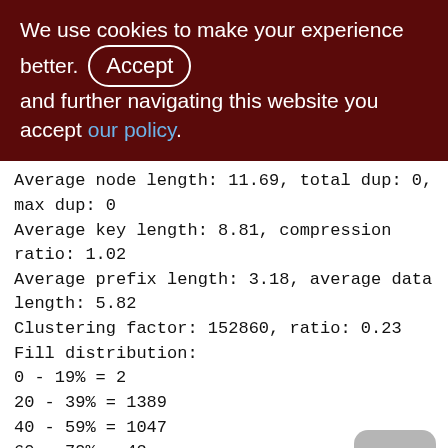We use cookies to make your experience better. By accepting and further navigating this website you accept our policy.
Average node length: 11.69, total dup: 0, max dup: 0
Average key length: 8.81, compression ratio: 1.02
Average prefix length: 3.18, average data length: 5.82
Clustering factor: 152860, ratio: 0.23
Fill distribution:
0 - 19% = 2
20 - 39% = 1389
40 - 59% = 1047
60 - 79% = 42
80 - 99% = 7